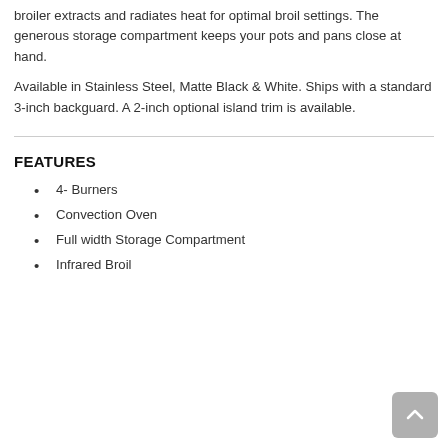broiler extracts and radiates heat for optimal broil settings. The generous storage compartment keeps your pots and pans close at hand.
Available in Stainless Steel, Matte Black & White. Ships with a standard 3-inch backguard. A 2-inch optional island trim is available.
FEATURES
4- Burners
Convection Oven
Full width Storage Compartment
Infrared Broil